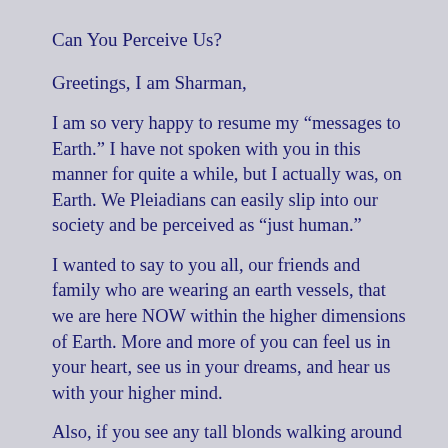Can You Perceive Us?
Greetings, I am Sharman,
I am so very happy to resume my “messages to Earth.” I have not spoken with you in this manner for quite a while, but I actually was, on Earth. We Pleiadians can easily slip into our society and be perceived as “just human.”
I wanted to say to you all, our friends and family who are wearing an earth vessels, that we are here NOW within the higher dimensions of Earth. More and more of you can feel us in your heart, see us in your dreams, and hear us with your higher mind.
Also, if you see any tall blonds walking around who are free of all fear, they just may be one of our